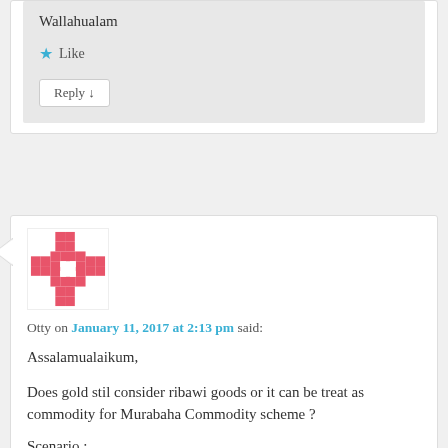Wallahualam
Like
Reply
[Figure (illustration): Red pixel-art style avatar icon with cross/star shape pattern]
Otty on January 11, 2017 at 2:13 pm said:
Assalamualaikum,
Does gold stil consider ribawi goods or it can be treat as commodity for Murabaha Commodity scheme ?
Scenario :